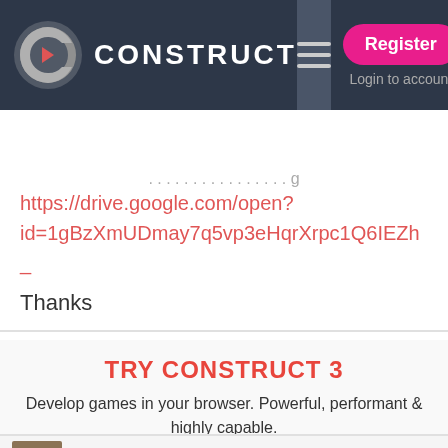[Figure (screenshot): Construct website top navigation bar with logo, hamburger menu, Register button, and Login to account link]
[Figure (screenshot): Teal navigation bar with Navigation label, hamburger icon, and settings gear toggle]
https://drive.google.com/open?id=1gBzXmUDmay7q5vp3eHqrXrpc1Q6IEZh_
Thanks
[Figure (infographic): TRY CONSTRUCT 3 advertisement block with text 'Develop games in your browser. Powerful, performant & highly capable.' and a TRY NOW button and note 'Construct 3 users don't see these ads']
Kyatric  2